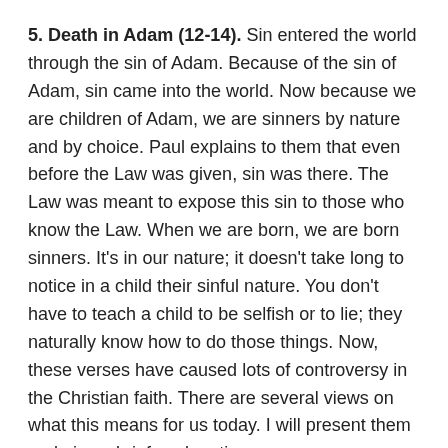5. Death in Adam (12-14). Sin entered the world through the sin of Adam. Because of the sin of Adam, sin came into the world. Now because we are children of Adam, we are sinners by nature and by choice. Paul explains to them that even before the Law was given, sin was there. The Law was meant to expose this sin to those who know the Law. When we are born, we are born sinners. It's in our nature; it doesn't take long to notice in a child their sinful nature. You don't have to teach a child to be selfish or to lie; they naturally know how to do those things. Now, these verses have caused lots of controversy in the Christian faith. There are several views on what this means for us today. I will present them and give a brief explanation.
A. Pelagianism. Pelagian was the opponent of St. Augustine. This view says that sin is directly related to the person and not to Adam. That we are our own, this is a